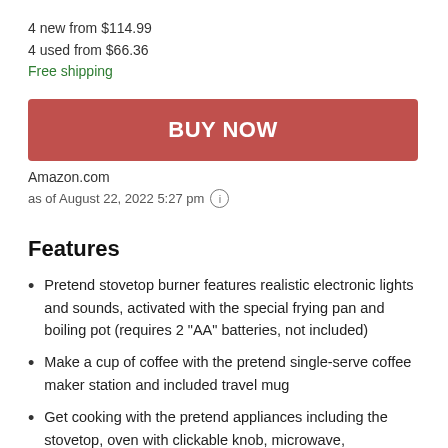4 new from $114.99
4 used from $66.36
Free shipping
BUY NOW
Amazon.com
as of August 22, 2022 5:27 pm
Features
Pretend stovetop burner features realistic electronic lights and sounds, activated with the special frying pan and boiling pot (requires 2 “AA” batteries, not included)
Make a cup of coffee with the pretend single-serve coffee maker station and included travel mug
Get cooking with the pretend appliances including the stovetop, oven with clickable knob, microwave,